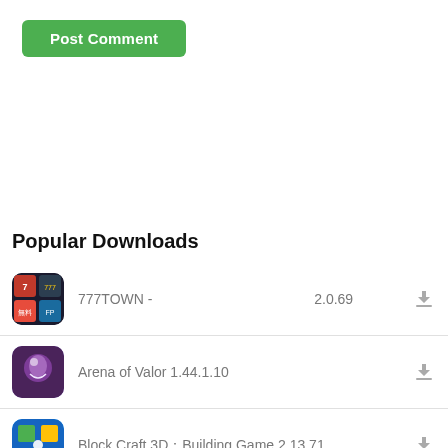[Figure (screenshot): Green Post Comment button]
Popular Downloads
777TOWN - 　　　　　　　　 2.0.69
Arena of Valor 1.44.1.10
Block Craft 3D：Building Game 2.13.71
Stickman Party: 1 2 3 4 Player Games Free 2.0.4.1